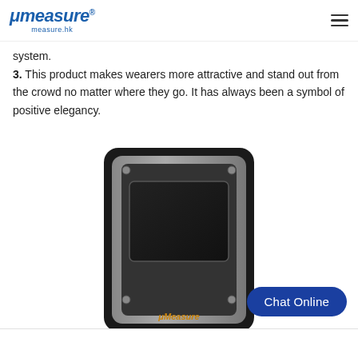μMeasure measure.hk
system.
3. This product makes wearers more attractive and stand out from the crowd no matter where they go. It has always been a symbol of positive elegancy.
[Figure (photo): A rugged electronic handheld laser distance measuring device with a gray metal body, black rubberized edges, a small dark display screen, screws at the corners, and the μMeasure logo on the front. The device is shown at a slight angle on a white background.]
Chat Online